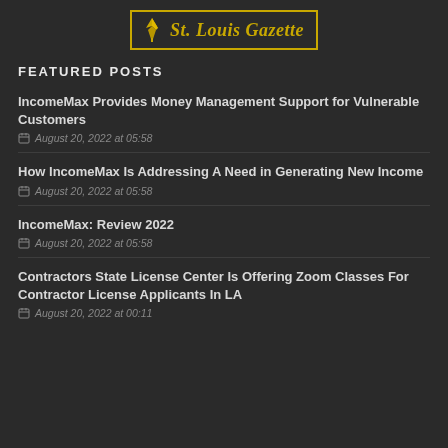[Figure (logo): St. Louis Gazette newspaper logo with gold quill pen icon and gothic-style text inside a gold border box]
FEATURED POSTS
IncomeMax Provides Money Management Support for Vulnerable Customers
August 20, 2022 at 05:58
How IncomeMax Is Addressing A Need in Generating New Income
August 20, 2022 at 05:58
IncomeMax: Review 2022
August 20, 2022 at 05:58
Contractors State License Center Is Offering Zoom Classes For Contractor License Applicants In LA
August 20, 2022 at 00:11